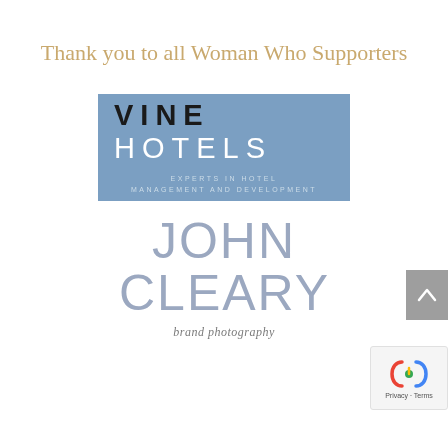Thank you to all Woman Who Supporters
[Figure (logo): Vine Hotels logo — blue/steel rectangular background with text 'VINE HOTELS' and subtitle 'EXPERTS IN HOTEL MANAGEMENT AND DEVELOPMENT']
[Figure (logo): John Cleary brand photography logo — large thin-font text 'JOHN CLEARY' in muted blue-grey with italic subtitle 'brand photography']